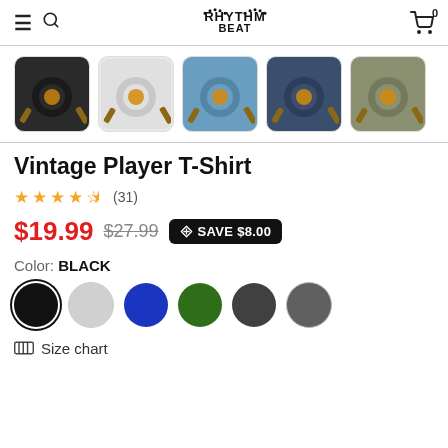Rhythm & Beat — navigation header with logo, search, and cart (0 items)
[Figure (photo): Five product thumbnail images of Vintage Player T-Shirt in different colors: black, light gray, blue, dark blue, and olive/gray]
Vintage Player T-Shirt
★★★★½ (31)
$19.99  $27.99  SAVE $8.00
Color: BLACK
[Figure (infographic): Six color swatches: black (selected), light gray, royal blue, dark green, dark gray, lighter gray]
Size chart